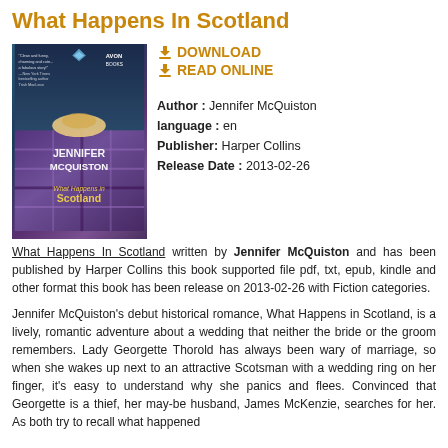What Happens In Scotland
[Figure (photo): Book cover of 'What Happens In Scotland' by Jennifer McQuiston, published by Avon Books. Shows a woman with blonde hair lying on a tartan blanket with a blue gemstone at the top.]
DOWNLOAD
READ ONLINE
Author : Jennifer McQuiston
language : en
Publisher: Harper Collins
Release Date : 2013-02-26
What Happens In Scotland written by Jennifer McQuiston and has been published by Harper Collins this book supported file pdf, txt, epub, kindle and other format this book has been release on 2013-02-26 with Fiction categories.
Jennifer McQuiston's debut historical romance, What Happens in Scotland, is a lively, romantic adventure about a wedding that neither the bride or the groom remembers. Lady Georgette Thorold has always been wary of marriage, so when she wakes up next to an attractive Scotsman with a wedding ring on her finger, it's easy to understand why she panics and flees. Convinced that Georgette is a thief, her may-be husband, James McKenzie, searches for her. As both try to recall what happened